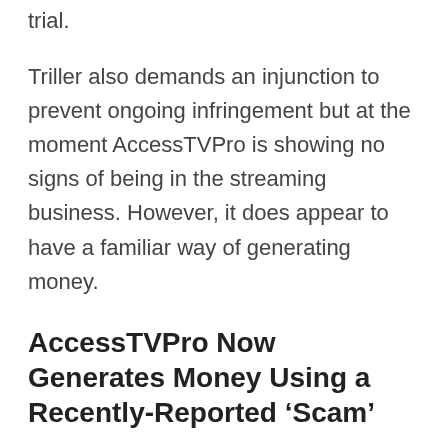trial.
Triller also demands an injunction to prevent ongoing infringement but at the moment AccessTVPro is showing no signs of being in the streaming business. However, it does appear to have a familiar way of generating money.
AccessTVPro Now Generates Money Using a Recently-Reported ‘Scam’
Interestingly, people visiting AccessTVPro.co today aren’t met with anything useful. Its main page is completely blank and shows no signs of activity. However, those who navigate directly to pages elsewhere on the site are met with what appears to